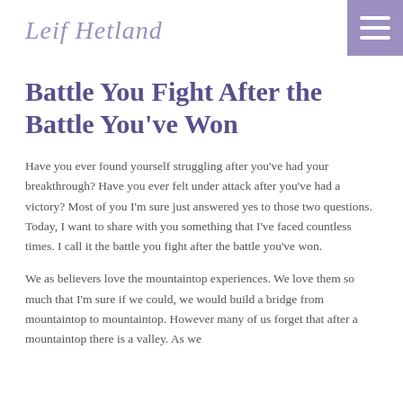Leif Hetland
Battle You Fight After the Battle You've Won
Have you ever found yourself struggling after you've had your breakthrough? Have you ever felt under attack after you've had a victory? Most of you I'm sure just answered yes to those two questions. Today, I want to share with you something that I've faced countless times. I call it the battle you fight after the battle you've won.
We as believers love the mountaintop experiences. We love them so much that I'm sure if we could, we would build a bridge from mountaintop to mountaintop. However many of us forget that after a mountaintop there is a valley. As we